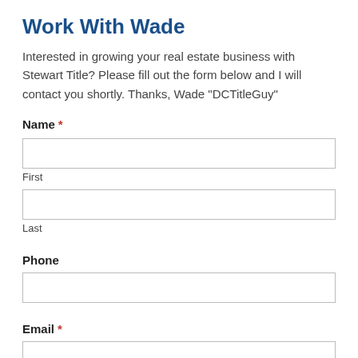Work With Wade
Interested in growing your real estate business with Stewart Title? Please fill out the form below and I will contact you shortly. Thanks, Wade "DCTitleGuy"
Name *
First
Last
Phone
Email *